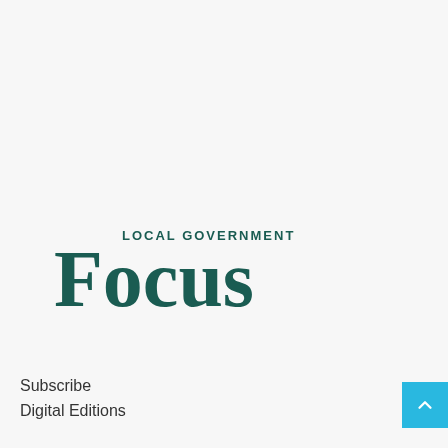[Figure (logo): Local Government Focus magazine logo in dark teal color. 'LOCAL GOVERNMENT' in small bold uppercase sans-serif text above large serif 'Focus' wordmark.]
Subscribe
Digital Editions